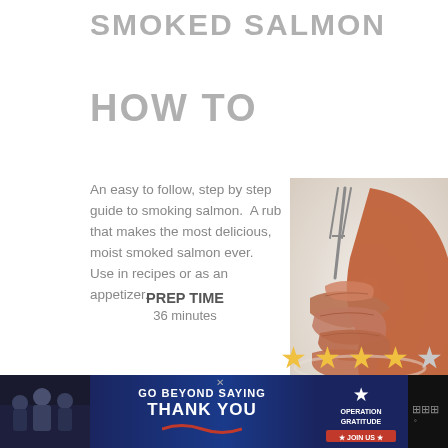SMOKED SALMON
HOW TO
An easy to follow, step by step guide to smoking salmon.  A rub that makes the most delicious, moist smoked salmon ever.  Use in recipes or as an appetizer.
[Figure (photo): Close-up photo of smoked salmon being flaked with a fork on a white plate, showing shredded pink-orange salmon pieces alongside intact smoked fillet]
PREP TIME
36 minutes
[Figure (other): Five-star rating display showing 4 gold stars and 1 grey/empty star]
[Figure (infographic): Advertisement banner: GO BEYOND SAYING THANK YOU - Operation Gratitude JOIN US, with dark blue background, people photo on left and logo on right]